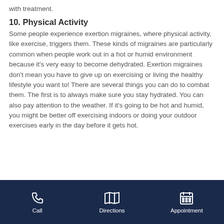with treatment.
10. Physical Activity
Some people experience exertion migraines, where physical activity, like exercise, triggers them. These kinds of migraines are particularly common when people work out in a hot or humid environment because it's very easy to become dehydrated. Exertion migraines don't mean you have to give up on exercising or living the healthy lifestyle you want to! There are several things you can do to combat them. The first is to always make sure you stay hydrated. You can also pay attention to the weather. If it's going to be hot and humid, you might be better off exercising indoors or doing your outdoor exercises early in the day before it gets hot.
Call | Directions | Appointment